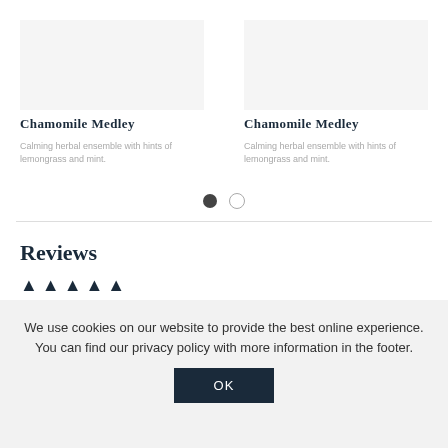[Figure (photo): Chamomile Medley product image placeholder (left card)]
Chamomile Medley
Calming herbal ensemble with hints of lemongrass and mint.
[Figure (photo): Chamomile Medley product image placeholder (right card)]
Chamomile Medley
Calming herbal ensemble with hints of lemongrass and mint.
[Figure (infographic): Carousel pagination dots: one filled dark dot and one empty circle dot]
Reviews
[Figure (infographic): Five star rating icons (dark triangular stars)]
We use cookies on our website to provide the best online experience. You can find our privacy policy with more information in the footer.
OK